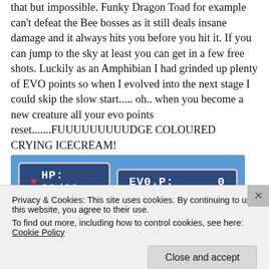that but impossible. Funky Dragon Toad for example can't defeat the Bee bosses as it still deals insane damage and it always hits you before you hit it. If you can jump to the sky at least you can get in a few free shots. Luckily as an Amphibian I had grinded up plenty of EVO points so when I evolved into the next stage I could skip the slow start..... oh.. when you become a new creature all your evo points reset.......FUUUUUUUUUDGE COLOURED CRYING ICECREAM!
[Figure (screenshot): Game UI screenshot showing HP: 30/30 and EVO.P: 0 status bars on a blue background]
Privacy & Cookies: This site uses cookies. By continuing to use this website, you agree to their use.
To find out more, including how to control cookies, see here: Cookie Policy
Close and accept